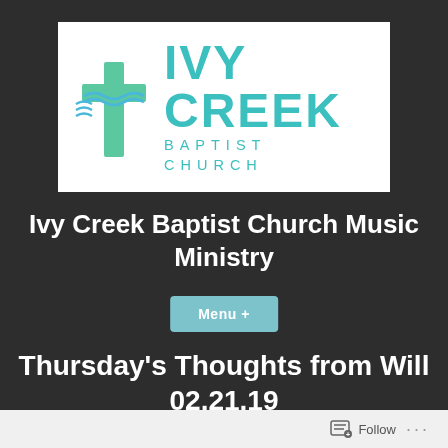[Figure (logo): Ivy Creek Baptist Church logo with green cross and teal text]
Ivy Creek Baptist Church Music Ministry
Menu +
Thursday's Thoughts from Will 02.21.19
Follow ...